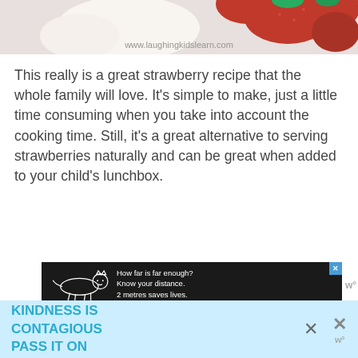[Figure (photo): Top portion of a photo showing strawberries with watermark 'www.laughingkidslearn.com']
This really is a great strawberry recipe that the whole family will love. It’s simple to make, just a little time consuming when you take into account the cooking time. Still, it’s a great alternative to serving strawberries naturally and can be great when added to your child’s lunchbox.
[Figure (infographic): Advertisement banner with black background showing a tiger outline and text: 'How far is far enough? Know your distance. 2 metres saves lives.' with '1 x adult tiger' label]
Would your child love to eat strawberry leather snaps?
If you like this recipe, you will also love
[Figure (infographic): Bottom advertisement banner with light blue background: 'KINDNESS IS CONTAGIOUS PASS IT ON' in cyan text with close buttons]